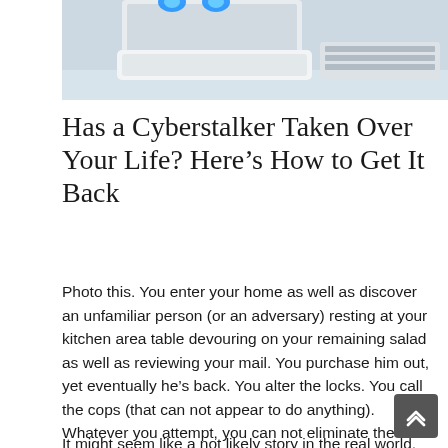[Figure (photo): Photo of a computer monitor/device with glowing blue eyes peeking over the top, and a white keyboard visible to the right, on a light grey surface.]
Has a Cyberstalker Taken Over Your Life? Here’s How to Get It Back
Photo this. You enter your home as well as discover an unfamiliar person (or an adversary) resting at your kitchen area table devouring on your remaining salad as well as reviewing your mail. You purchase him out, yet eventually he’s back. You alter the locks. You call the cops (that can not appear to do anything). Whatever you attempt, you can not eliminate the undesirable intruder. At some point, in anxiety, you alter your name as well as vacate state.
It might seem like a not likely story in the real world,